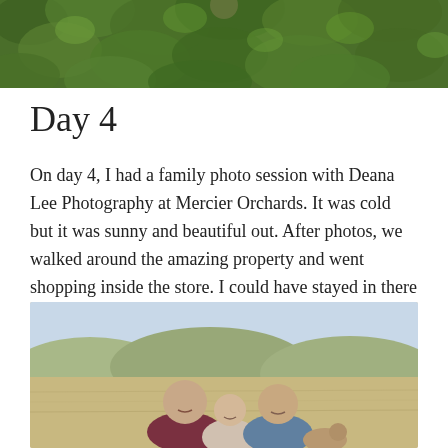[Figure (photo): Aerial or overhead view of lush green foliage/ivy, partially cropped at top of page]
Day 4
On day 4, I had a family photo session with Deana Lee Photography at Mercier Orchards. It was cold but it was sunny and beautiful out. After photos, we walked around the amazing property and went shopping inside the store. I could have stayed in there all day! I highly recommend the fried pies.
[Figure (photo): Family photo outdoors in a field with rolling hills in background. A man, a young girl, and a woman smile at the camera, with what appears to be a small dog on the right.]